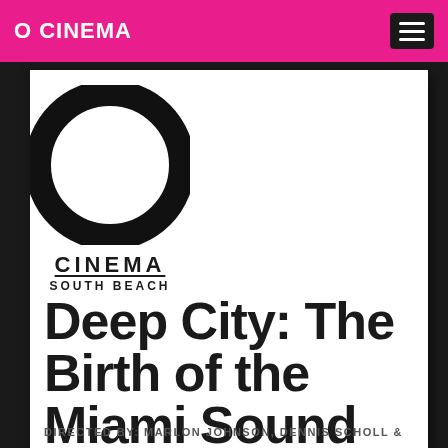O CINEMA
[Figure (logo): O Cinema South Beach logo — large black circle ring with 'CINEMA' underlined and 'SOUTH BEACH' below]
Deep City: The Birth of the Miami Sound
DIRECTED BY: MARLON JOHNSON, DENNIS SCHOLL &